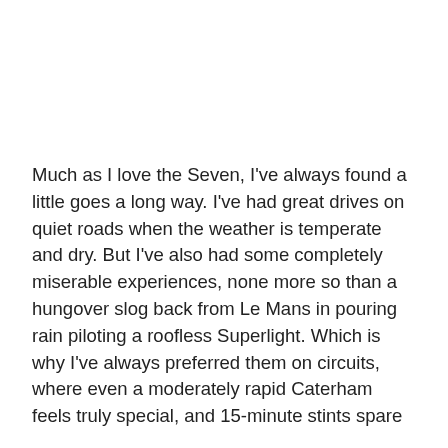Much as I love the Seven, I've always found a little goes a long way. I've had great drives on quiet roads when the weather is temperate and dry. But I've also had some completely miserable experiences, none more so than a hungover slog back from Le Mans in pouring rain piloting a roofless Superlight. Which is why I've always preferred them on circuits, where even a moderately rapid Caterham feels truly special, and 15-minute stints spare